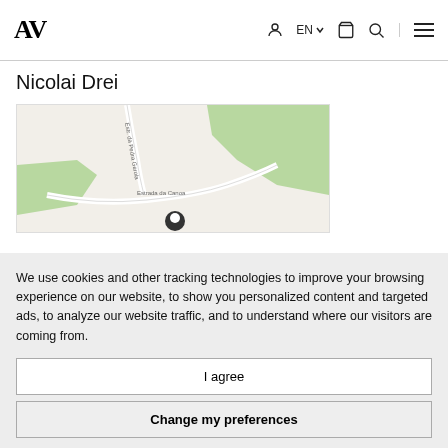AV | EN | (user icon) (cart icon) (search icon) (menu icon)
Nicolai Drei
[Figure (map): Street map showing area with green regions, roads labeled 'Estr. da Pedra Gerola', 'Estrada da Canoa', and a location pin marker.]
We use cookies and other tracking technologies to improve your browsing experience on our website, to show you personalized content and targeted ads, to analyze our website traffic, and to understand where our visitors are coming from.
I agree
Change my preferences